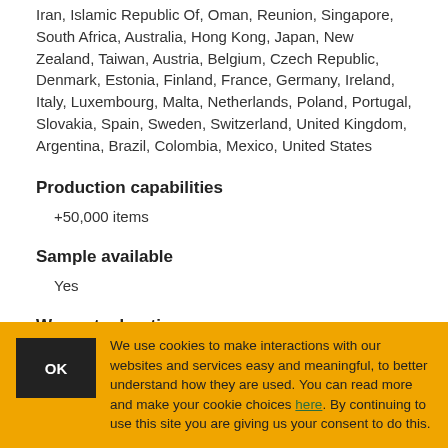Iran, Islamic Republic Of, Oman, Reunion, Singapore, South Africa, Australia, Hong Kong, Japan, New Zealand, Taiwan, Austria, Belgium, Czech Republic, Denmark, Estonia, Finland, France, Germany, Ireland, Italy, Luxembourg, Malta, Netherlands, Poland, Portugal, Slovakia, Spain, Sweden, Switzerland, United Kingdom, Argentina, Brazil, Colombia, Mexico, United States
Production capabilities
+50,000 items
Sample available
Yes
Warranty duration
We use cookies to make interactions with our websites and services easy and meaningful, to better understand how they are used. You can read more and make your cookie choices here. By continuing to use this site you are giving us your consent to do this.